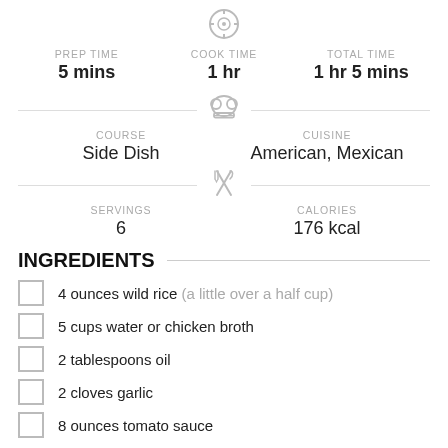PREP TIME: 5 mins | COOK TIME: 1 hr | TOTAL TIME: 1 hr 5 mins
COURSE: Side Dish | CUISINE: American, Mexican
SERVINGS: 6 | CALORIES: 176 kcal
INGREDIENTS
4 ounces wild rice (a little over a half cup)
5 cups water or chicken broth
2 tablespoons oil
2 cloves garlic
8 ounces tomato sauce